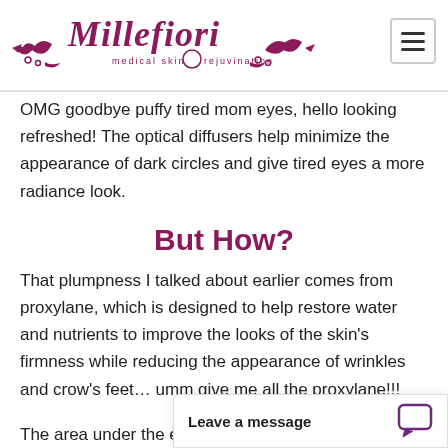[Figure (logo): Millefiori medical skin rejuvination logo in dark magenta/purple cursive script with decorative flourishes]
OMG goodbye puffy tired mom eyes, hello looking refreshed! The optical diffusers help minimize the appearance of dark circles and give tired eyes a more radiance look.
But How?
That plumpness I talked about earlier comes from proxylane, which is designed to help restore water and nutrients to improve the looks of the skin's firmness while reducing the appearance of wrinkles and crow's feet... umm give me all the proxylane!!!
The area under the eyes